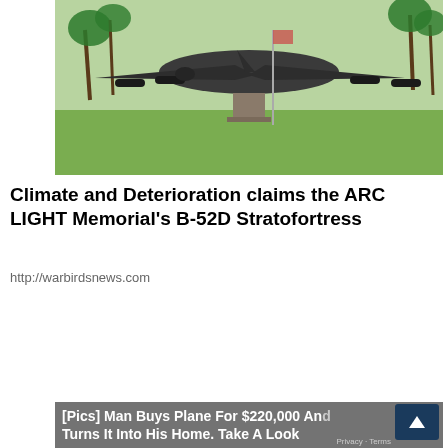[Figure (photo): A B-52D Stratofortress bomber aircraft displayed outdoors on a grass field, with palm trees visible in the background. The aircraft is viewed from the front at a low angle.]
Climate and Deterioration claims the ARC LIGHT Memorial's B-52D Stratofortress
http://warbirdsnews.com
[Figure (photo): Large cylindrical blue and grey structures converted from airplane engine nacelles into small dwelling units, with windows and doors cut into them. Stairs visible on the right. Lush green trees in background.]
[Pics] Man Buys Plane For $220,000 And Turns It Into His Home. Take A Look